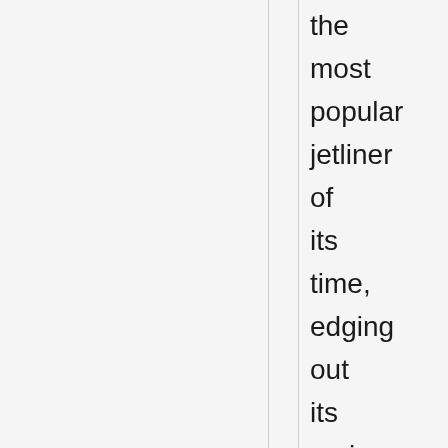the most popular jetliner of its time, edging out its main competitor, the Douglas DC-